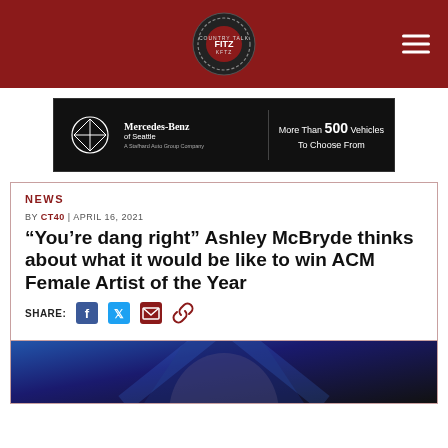[Figure (logo): Country Talk 40 with Fitz radio station logo, circular badge on dark red header bar with hamburger menu icon]
[Figure (illustration): Mercedes-Benz of Seattle advertisement banner with Mercedes logo, brand name, and text 'More Than 500 Vehicles To Choose From']
NEWS
BY CT40 | APRIL 16, 2021
“You’re dang right” Ashley McBryde thinks about what it would be like to win ACM Female Artist of the Year
SHARE:
[Figure (photo): Photo of Ashley McBryde performing on stage with blue stage lighting]